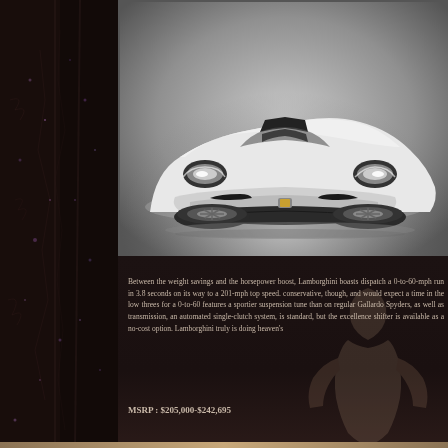[Figure (photo): White Lamborghini Gallardo Spyder sports car with black racing stripes, photographed from front-three-quarter angle on white studio background]
Between the weight savings and the horsepower boost, Lamborghini boasts dispatch a 0-to-60-mph run in 3.8 seconds on its way to a 201-mph top speed. conservative, though, and would expect a time in the low threes for a 0-to-60 features a sportier suspension tune than on regular Gallardo Spyders, as well as transmission, an automated single-clutch system, is standard, but the excellence shifter is available as a no-cost option. Lamborghini truly is doing heaven's
MSRP : $205,000-$242,695